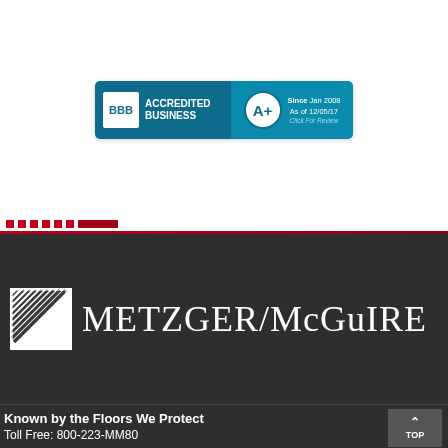[Figure (logo): BBB Accredited Business badge with A+ rating, Since Jan 2008, As of 12/05/17, Click For Review]
[Figure (logo): Metzger/McGuire logo with geometric lines graphic on dark background]
Known by the Floors We Protect
Toll Free: 800-223-MM80